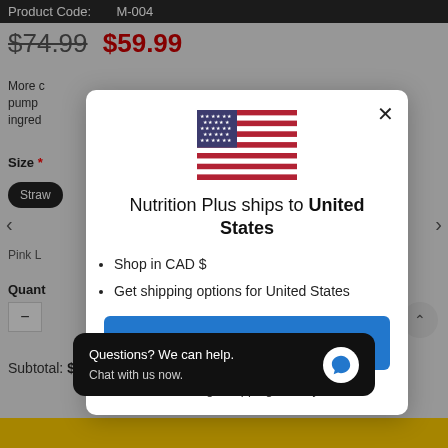Product Code: M-004
$74.99  $59.99
More ... at pump ... L3 ingred...
Size * Straw...
Pink L...
Quantity
Subtotal: $59.99
[Figure (screenshot): US flag icon shown in center of modal]
Nutrition Plus ships to United States
Shop in CAD $
Get shipping options for United States
Shop now
Change shipping country
Questions? We can help. Chat with us now.